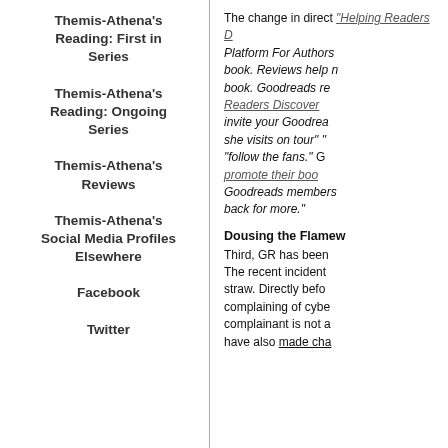Themis-Athena's Reading: First in Series
Themis-Athena's Reading: Ongoing Series
Themis-Athena's Reviews
Themis-Athena's Social Media Profiles Elsewhere
Facebook
Twitter
The change in direct... "Helping Readers D... Platform For Authors... book. Reviews help r... book. Goodreads re... Readers Discover ... invite your Goodrea... she visits on tour" "... "follow the fans." G... promote their boo... Goodreads members... back for more."
Dousing the Flamew...
Third, GR has been ... The recent incident ... straw. Directly befo... complaining of cybe... complainant is not a... have also made cha...